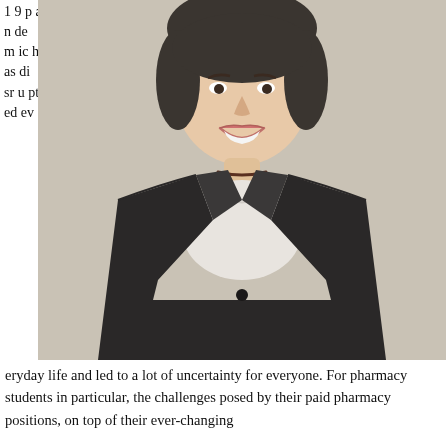[Figure (photo): Professional headshot of a young woman with short dark hair, smiling, wearing a dark blazer over a white blouse with a dark necklace, against a light beige background.]
19 pandemic has disrupted everyday life and led to a lot of uncertainty for everyone. For pharmacy students in particular, the challenges posed by their paid pharmacy positions, on top of their ever-changing
eryday life and led to a lot of uncertainty for everyone. For pharmacy students in particular, the challenges posed by their paid pharmacy positions, on top of their ever-changing